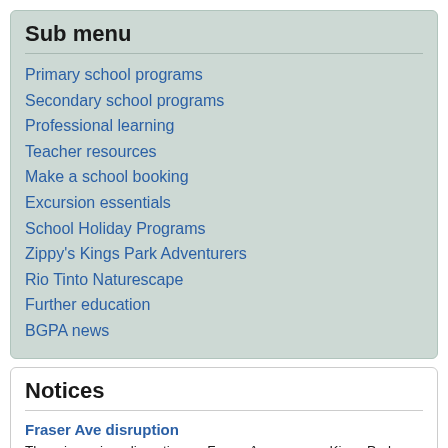Sub menu
Primary school programs
Secondary school programs
Professional learning
Teacher resources
Make a school booking
Excursion essentials
School Holiday Programs
Zippy's Kings Park Adventurers
Rio Tinto Naturescape
Further education
BGPA news
Notices
Fraser Ave disruption
There is a minor disruption on Fraser Avenue near Kings Park Road due to tree works. Traffic management is in place and access is not affected.
Biara Cafe temporary closure
Biara Cafe will be closing temporarily from 2 August - 19 September for refurbishment works.